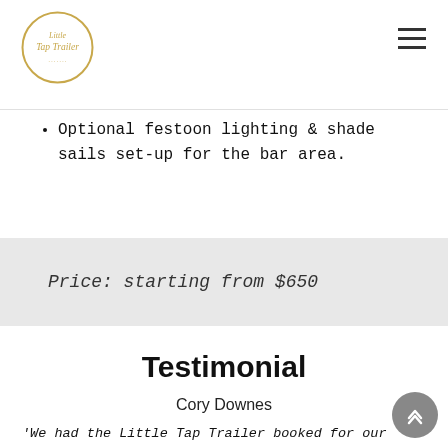Little Tap Trailer logo and navigation
Optional festoon lighting & shade sails set-up for the bar area.
Price: starting from $650
Testimonial
Cory Downes
'We had the Little Tap Trailer booked for our wedding at Assembly Yard in Fremantle, the trailer looked awesome in amongst the rest of the wedding furniture and vendors, beers were cold and sourced from multiple different breweries at a great price. The team were efficient and